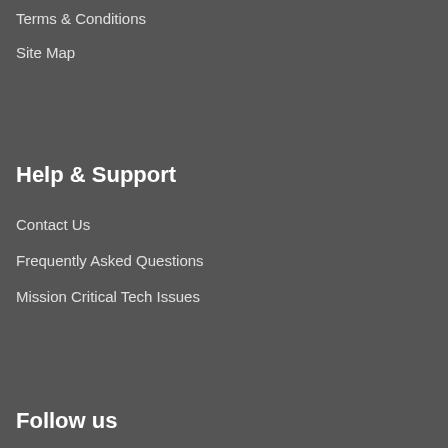Terms & Conditions
Site Map
Help & Support
Contact Us
Frequently Asked Questions
Mission Critical Tech Issues
Follow us